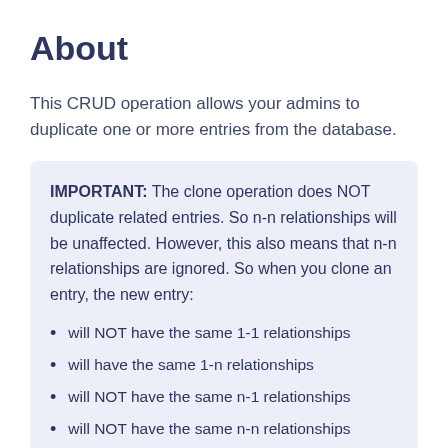About
This CRUD operation allows your admins to duplicate one or more entries from the database.
IMPORTANT: The clone operation does NOT duplicate related entries. So n-n relationships will be unaffected. However, this also means that n-n relationships are ignored. So when you clone an entry, the new entry:
will NOT have the same 1-1 relationships
will have the same 1-n relationships
will NOT have the same n-1 relationships
will NOT have the same n-n relationships